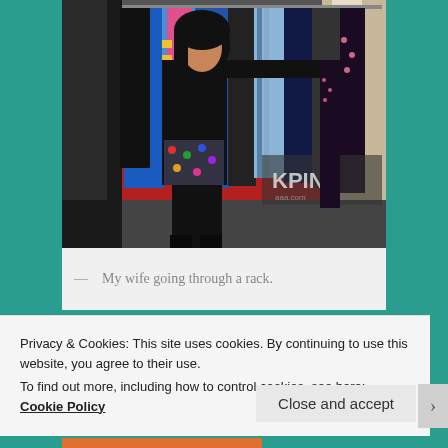[Figure (photo): A woman with dark hair wearing a black top and colorful patterned skirt browsing through clothing on a rack at what appears to be a trade show or retail event. A sign reading 'KPINK' is visible in the background. Multiple garments including coats and dresses hang on racks.]
— My wife going through a rack.
Privacy & Cookies: This site uses cookies. By continuing to use this website, you agree to their use.
To find out more, including how to control cookies, see here: Cookie Policy